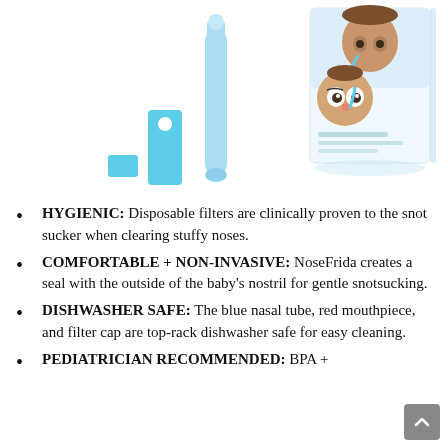[Figure (photo): Product photo showing NoseFrida nasal aspirator components (blue tube, filter caps) on the left, and the product packaging box featuring cartoon illustration of a mother and baby on the right.]
HYGIENIC: Disposable filters are clinically proven to the snot sucker when clearing stuffy noses.
COMFORTABLE + NON-INVASIVE: NoseFrida creates a seal with the outside of the baby's nostril for gentle snotsucking.
DISHWASHER SAFE: The blue nasal tube, red mouthpiece, and filter cap are top-rack dishwasher safe for easy cleaning.
PEDIATRICIAN RECOMMENDED: BPA +